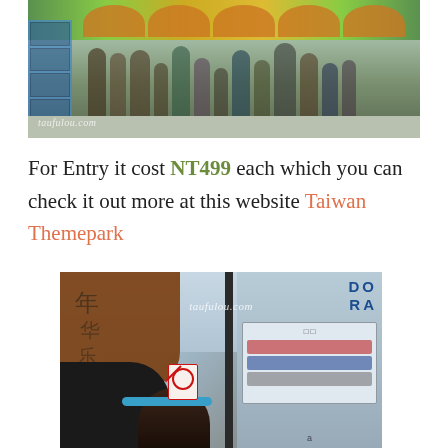[Figure (photo): Ticket booth area at Taiwan theme park, showing people queuing at colorful ticket windows with arch decorations, blue lockers on left side, watermark taufulou.com at bottom left]
For Entry it cost NT499 each which you can check it out more at this website Taiwan Themepark
[Figure (photo): Close-up at Taiwan theme park showing a girl with blue Doraemon headband/antenna accessory, a brown wooden sign with Chinese characters on the left, Doraemon signage on the right side, and a no-smoking sign visible. Watermark taufulou.com visible.]